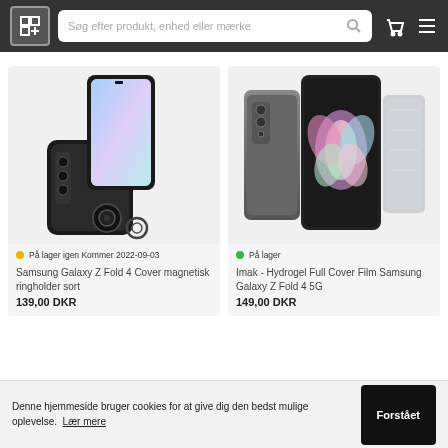Søg efter produkt, enhed eller mærke
[Figure (photo): Samsung Galaxy Z Fold 4 black phone case with magnetic ring holder, showing front and back views]
På lager igen Kommer 2022-09-03
Samsung Galaxy Z Fold 4 Cover magnetisk ringholder sort
139,00 DKR
[Figure (photo): Imak Hydrogel Full Cover Film for Samsung Galaxy Z Fold 4 5G, showing three product panels]
På lager
Imak - Hydrogel Full Cover Film Samsung Galaxy Z Fold 4 5G
149,00 DKR
Denne hjemmeside bruger cookies for at give dig den bedst mulige oplevelse. Lær mere